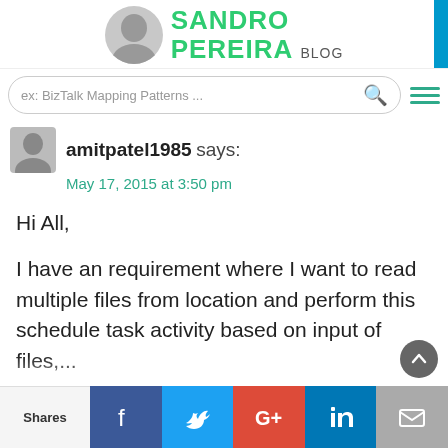SANDRO PEREIRA BLOG
ex: BizTalk Mapping Patterns ...
amitpatel1985 says:
May 17, 2015 at 3:50 pm
Hi All,
I have an requirement where I want to read multiple files from location and perform this schedule task activity based on input of files,...
I am trying to change the GetStream Method so
Shares